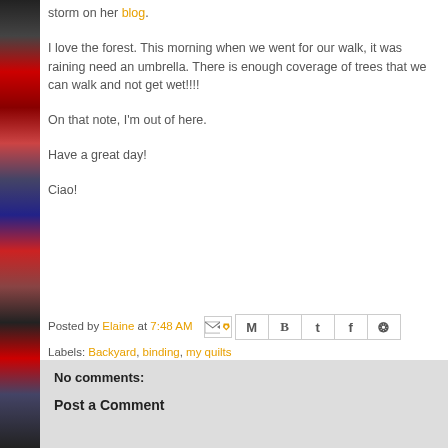storm on her blog.
I love the forest. This morning when we went for our walk, it was raining need an umbrella. There is enough coverage of trees that we can walk and not get wet!!!!
On that note, I'm out of here.
Have a great day!
Ciao!
Posted by Elaine at 7:48 AM  Labels: Backyard, binding, my quilts
No comments:
Post a Comment